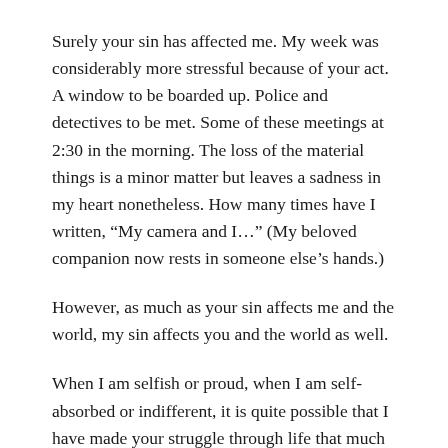Surely your sin has affected me. My week was considerably more stressful because of your act. A window to be boarded up. Police and detectives to be met. Some of these meetings at 2:30 in the morning. The loss of the material things is a minor matter but leaves a sadness in my heart nonetheless. How many times have I written, “My camera and I…” (My beloved companion now rests in someone else’s hands.)
However, as much as your sin affects me and the world, my sin affects you and the world as well.
When I am selfish or proud, when I am self-absorbed or indifferent, it is quite possible that I have made your struggle through life that much harder. If not your life directly, by imitating the sin of Adam, I have undoubtedly helped perpetuate the consequences of